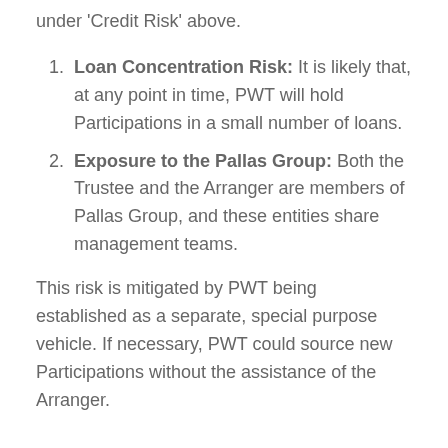under 'Credit Risk' above.
Loan Concentration Risk: It is likely that, at any point in time, PWT will hold Participations in a small number of loans.
Exposure to the Pallas Group: Both the Trustee and the Arranger are members of Pallas Group, and these entities share management teams.
This risk is mitigated by PWT being established as a separate, special purpose vehicle. If necessary, PWT could source new Participations without the assistance of the Arranger.